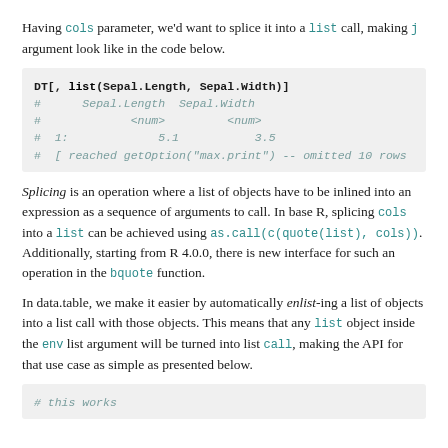Having cols parameter, we'd want to splice it into a list call, making j argument look like in the code below.
[Figure (screenshot): Code block showing: DT[, list(Sepal.Length, Sepal.Width)] with commented output lines showing column headers and data]
Splicing is an operation where a list of objects have to be inlined into an expression as a sequence of arguments to call. In base R, splicing cols into a list can be achieved using as.call(c(quote(list), cols)). Additionally, starting from R 4.0.0, there is new interface for such an operation in the bquote function.
In data.table, we make it easier by automatically enlist-ing a list of objects into a list call with those objects. This means that any list object inside the env list argument will be turned into list call, making the API for that use case as simple as presented below.
[Figure (screenshot): Code block showing: # this works]